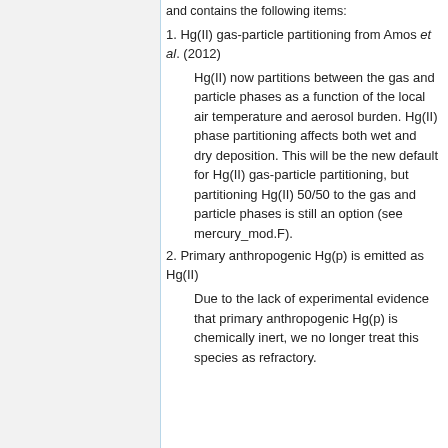and contains the following items:
1. Hg(II) gas-particle partitioning from Amos et al. (2012)
Hg(II) now partitions between the gas and particle phases as a function of the local air temperature and aerosol burden. Hg(II) phase partitioning affects both wet and dry deposition. This will be the new default for Hg(II) gas-particle partitioning, but partitioning Hg(II) 50/50 to the gas and particle phases is still an option (see mercury_mod.F).
2. Primary anthropogenic Hg(p) is emitted as Hg(II)
Due to the lack of experimental evidence that primary anthropogenic Hg(p) is chemically inert, we no longer treat this species as refractory.